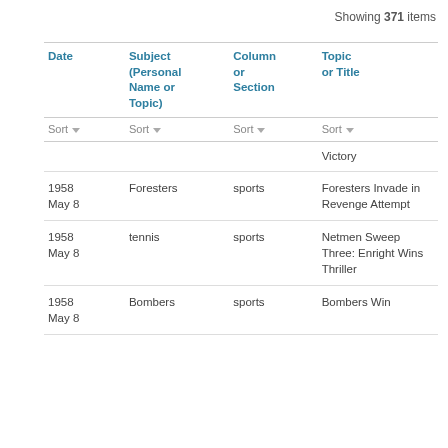Showing 371 items
| Date | Subject (Personal Name or Topic) | Column or Section | Topic or Title |
| --- | --- | --- | --- |
| Sort | Sort | Sort | Sort |
|  |  |  | Victory |
| 1958 May 8 | Foresters | sports | Foresters Invade in Revenge Attempt |
| 1958 May 8 | tennis | sports | Netmen Sweep Three: Enright Wins Thriller |
| 1958 May 8 | Bombers | sports | Bombers Win |